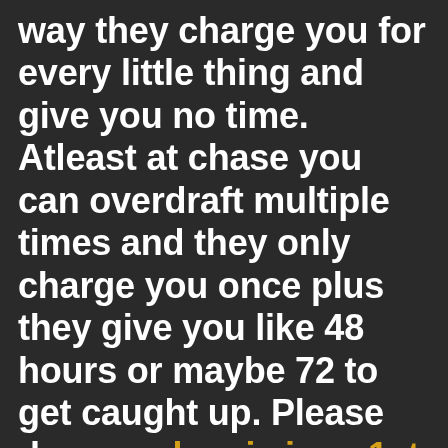way they charge you for every little thing and give you no time. Atleast at chase you can overdraft multiple times and they only charge you once plus they give you like 48 hours or maybe 72 to get caught up. Please do you when is june 1st before choosing a bank. Around here I recommend Chase or PNC!! TD Bank is theifs!! Then you get no help!!